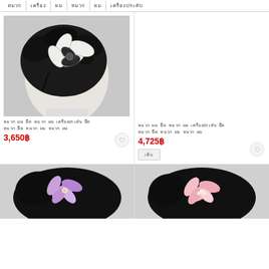หมวก  เครื่อง  ผม  หมวก  ผม  เครื่องประดับ
[Figure (photo): Black fascinator hat with white flower on mannequin head]
หมวก ผม ยึด หมวก ผม เครื่องประดับ ยึด หมวก ยึด หมวก ผม หมวก ผม
3,650฿
หมวก ผม ยึด หมวก ผม เครื่องประดับ ยึด หมวก ยึด หมวก ผม หมวก ผม
4,725฿
เพิ่ม
[Figure (photo): Black hair piece with purple/lavender flower]
[Figure (photo): Black hair piece with pink flower]